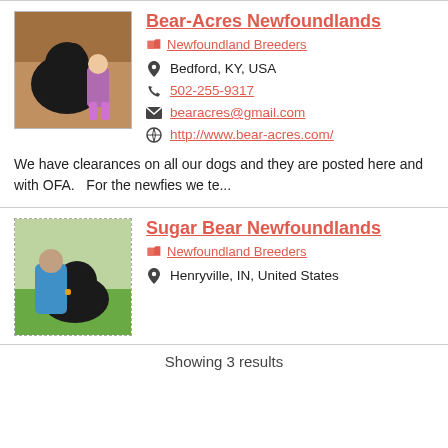Bear-Acres Newfoundlands
Newfoundland Breeders
Bedford, KY, USA
502-255-9317
bearacres@gmail.com
http://www.bear-acres.com/
We have clearances on all our dogs and they are posted here and with OFA.   For the newfies we te...
Sugar Bear Newfoundlands
Newfoundland Breeders
Henryville, IN, United States
Showing 3 results